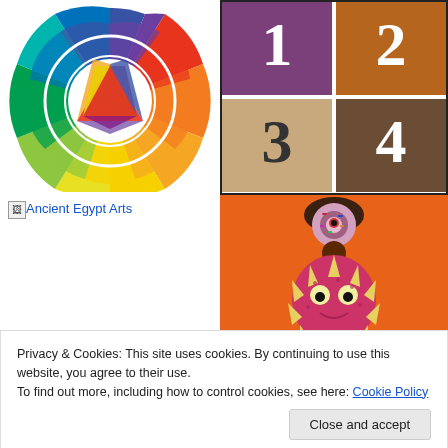[Figure (illustration): Color wheel diagram showing spectrum of colors arranged in a circle with inner geometric shapes]
[Figure (illustration): Four numbered squares (1, 2, 3, 4) in colored backgrounds: purple, orange-brown, tan, dark brown]
[Figure (illustration): Broken image placeholder labeled Ancient Egypt Arts]
[Figure (photo): Food art figure resembling a spiky monster/creature made from food items on an orange background]
Privacy & Cookies: This site uses cookies. By continuing to use this website, you agree to their use.
To find out more, including how to control cookies, see here: Cookie Policy
Close and accept
Suggesting Facebook P...